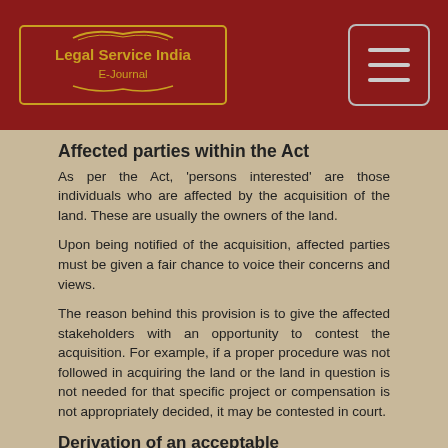Legal Service India E-Journal
Affected parties within the Act
As per the Act, 'persons interested' are those individuals who are affected by the acquisition of the land. These are usually the owners of the land.
Upon being notified of the acquisition, affected parties must be given a fair chance to voice their concerns and views.
The reason behind this provision is to give the affected stakeholders with an opportunity to contest the acquisition. For example, if a proper procedure was not followed in acquiring the land or the land in question is not needed for that specific project or compensation is not appropriately decided, it may be contested in court.
Derivation of an acceptable compensation package to be arrived upon while considering other factors in determining the numbers.